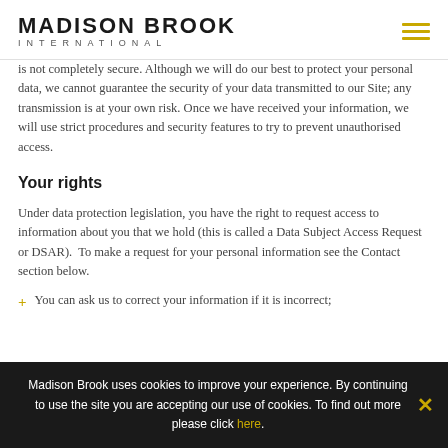MADISON BROOK INTERNATIONAL
is not completely secure. Although we will do our best to protect your personal data, we cannot guarantee the security of your data transmitted to our Site; any transmission is at your own risk. Once we have received your information, we will use strict procedures and security features to try to prevent unauthorised access.
Your rights
Under data protection legislation, you have the right to request access to information about you that we hold (this is called a Data Subject Access Request or DSAR). To make a request for your personal information see the Contact section below.
You can ask us to correct your information if it is incorrect;
Madison Brook uses cookies to improve your experience. By continuing to use the site you are accepting our use of cookies. To find out more please click here.